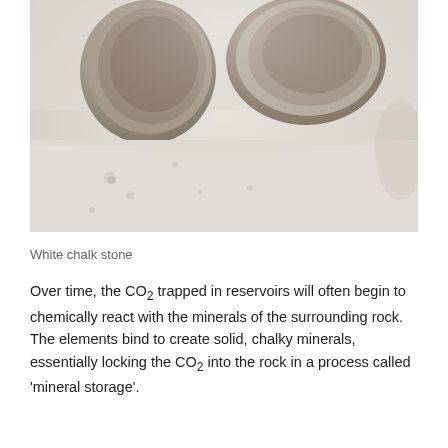[Figure (photo): Close-up photograph of white chalk stone with rounded hollow cavities and a porous, rough surface texture.]
White chalk stone
Over time, the CO₂ trapped in reservoirs will often begin to chemically react with the minerals of the surrounding rock. The elements bind to create solid, chalky minerals, essentially locking the CO₂ into the rock in a process called 'mineral storage'.